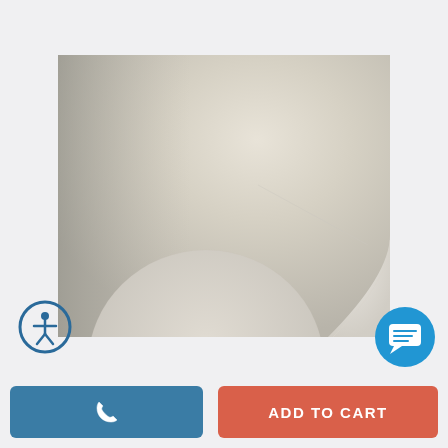[Figure (photo): Close-up product photo showing textured beige/off-white material surface with smooth and circular shapes visible in the lower portion]
[Figure (other): Circular accessibility icon button (blue outlined circle with white figure) in bottom-left area]
[Figure (other): Blue circular chat/message icon button in bottom-right area]
[Figure (other): Blue phone/call button on bottom left]
ADD TO CART